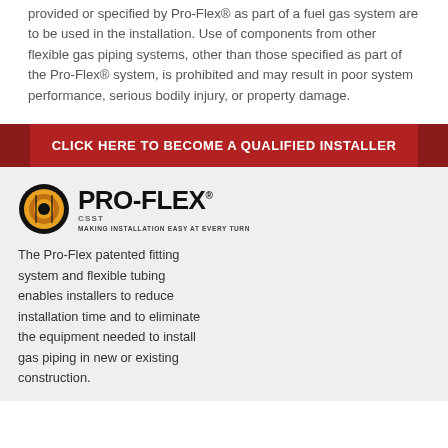provided or specified by Pro-Flex® as part of a fuel gas system are to be used in the installation. Use of components from other flexible gas piping systems, other than those specified as part of the Pro-Flex® system, is prohibited and may result in poor system performance, serious bodily injury, or property damage.
CLICK HERE TO BECOME A QUALIFIED INSTALLER
[Figure (logo): Pro-Flex CSST logo with circular coil icon and tagline MAKING INSTALLATION EASY AT EVERY TURN]
The Pro-Flex patented fitting system and flexible tubing enables installers to reduce installation time and to eliminate the equipment needed to install gas piping in new or existing construction.